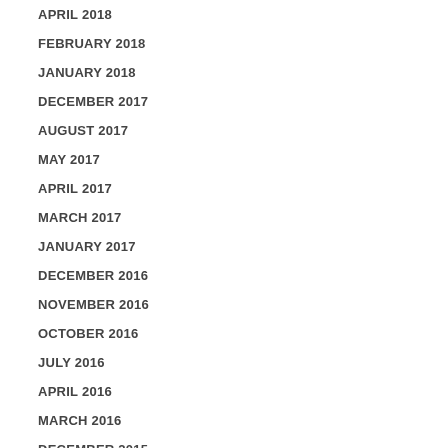APRIL 2018
FEBRUARY 2018
JANUARY 2018
DECEMBER 2017
AUGUST 2017
MAY 2017
APRIL 2017
MARCH 2017
JANUARY 2017
DECEMBER 2016
NOVEMBER 2016
OCTOBER 2016
JULY 2016
APRIL 2016
MARCH 2016
DECEMBER 2015
NOVEMBER 2015
OCTOBER 2015